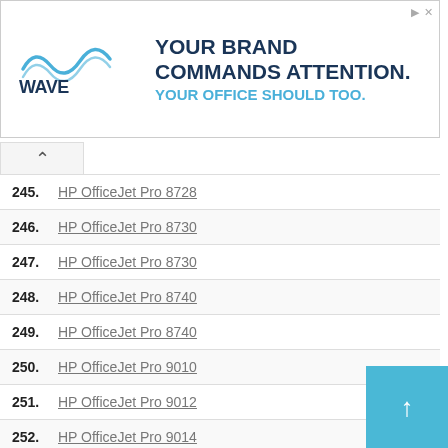[Figure (other): WAVE by Carr Properties advertisement banner. Text: YOUR BRAND COMMANDS ATTENTION. YOUR OFFICE SHOULD TOO.]
245. HP OfficeJet Pro 8728
246. HP OfficeJet Pro 8730
247. HP OfficeJet Pro 8730
248. HP OfficeJet Pro 8740
249. HP OfficeJet Pro 8740
250. HP OfficeJet Pro 9010
251. HP OfficeJet Pro 9012
252. HP OfficeJet Pro 9014
253. HP OfficeJet Pro 9015
254. HP OfficeJet Pro 9016